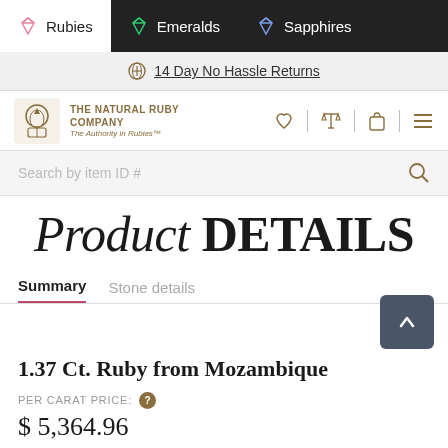Rubies | Emeralds | Sapphires
14 Day No Hassle Returns
[Figure (logo): The Natural Ruby Company crest logo with text: THE NATURAL RUBY COMPANY, The Authority in Rubies™]
Product DETAILS
Summary  Stone details
1.37 Ct. Ruby from Mozambique
PER CARAT PRICE:
$ 5,364.96